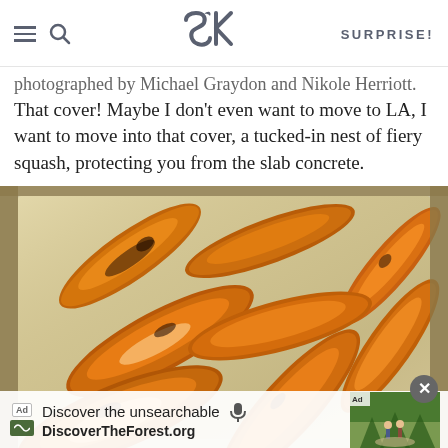SK | SURPRISE!
photographed by Michael Graydon and Nikole Herriott. That cover! Maybe I don't even want to move to LA, I want to move into that cover, a tucked-in nest of fiery squash, protecting you from the slab concrete.
[Figure (photo): Roasted sweet potato wedges on a foil-lined baking sheet, caramelized and golden-brown, with an advertisement banner overlay at the bottom for DiscoverTheForest.org.]